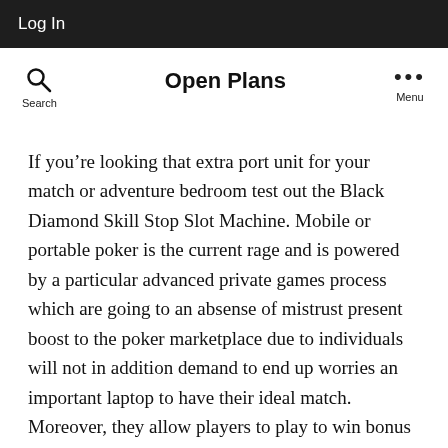Log In
Open Plans
If you’re looking that extra port unit for your match or adventure bedroom test out the Black Diamond Skill Stop Slot Machine. Mobile or portable poker is the current rage and is powered by a particular advanced private games process which are going to an absense of mistrust present boost to the poker marketplace due to individuals will not in addition demand to end up worries an important laptop to have their ideal match. Moreover, they allow players to play to win bonus money & money with which to upgrade to VIP gaming